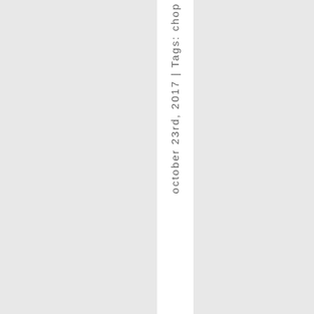october 23rd, 2017 | Tags: chop